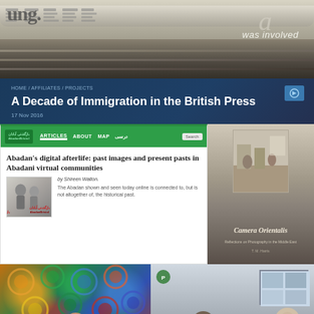[Figure (photo): Stack of rolled and folded newspapers, black and white and grey tones, with text 'was involved' visible on the right side]
A Decade of Immigration in the British Press
17 Nov 2016
[Figure (screenshot): Screenshot of AbadanBristol website showing article titled 'Abadan's digital afterlife: past images and present pasts in Abadani virtual communities' by Shireen Walton, with thumbnail image and excerpt text]
[Figure (photo): Book cover showing 'Camera Orientalis' against a dark vintage photographic backdrop]
[Figure (photo): Woman standing in front of colorful Persian/Islamic decorative tile pattern]
[Figure (photo): Panel discussion: people seated at a table with a projection screen visible in the background]